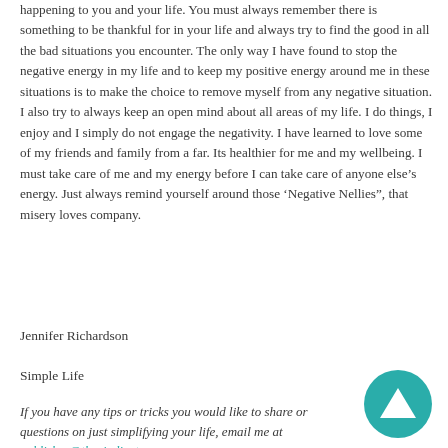happening to you and your life. You must always remember there is something to be thankful for in your life and always try to find the good in all the bad situations you encounter. The only way I have found to stop the negative energy in my life and to keep my positive energy around me in these situations is to make the choice to remove myself from any negative situation. I also try to always keep an open mind about all areas of my life. I do things, I enjoy and I simply do not engage the negativity. I have learned to love some of my friends and family from a far. Its healthier for me and my wellbeing. I must take care of me and my energy before I can take care of anyone else’s energy. Just always remind yourself around those ‘Negative Nellies”, that misery loves company.
Jennifer Richardson
Simple Life
If you have any tips or tricks you would like to share or questions on just simplifying your life, email me at publisher@thevindicator.com.